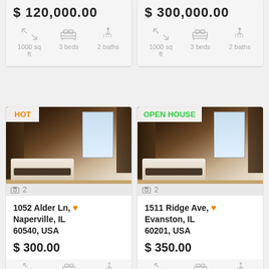$ 120,000.00
1000 sq ft  3 beds  2 baths
$ 300,000.00
1000 sq ft  3 beds  2 baths
[Figure (photo): Bedroom interior photo with HOT badge]
2
1052 Alder Ln, Naperville, IL 60540, USA
$ 300.00
[Figure (photo): Bedroom interior photo with OPEN HOUSE badge]
2
1511 Ridge Ave, Evanston, IL 60201, USA
$ 350.00